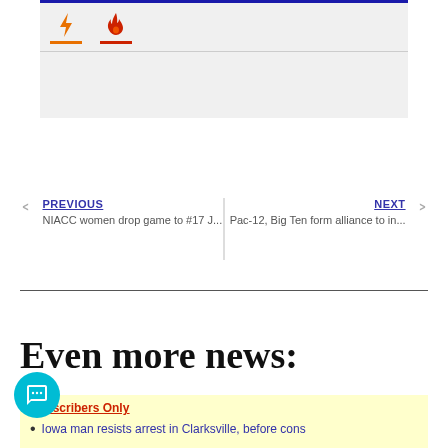[Figure (other): Widget area with lightning bolt and fire icons with orange and red tab underlines on a light gray background with dark blue top border]
PREVIOUS
NIACC women drop game to #17 J...
NEXT
Pac-12, Big Ten form alliance to in...
Even more news:
Subscribers Only
Iowa man resists arrest in Clarksville, before cons